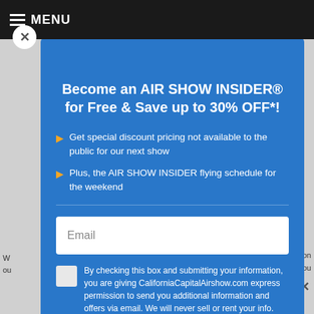≡ MENU
Become an AIR SHOW INSIDER® for Free & Save up to 30% OFF*!
Get special discount pricing not available to the public for our next show
Plus, the AIR SHOW INSIDER flying schedule for the weekend
Email
By checking this box and submitting your information, you are giving CaliforniaCapitalAirshow.com express permission to send you additional information and offers via email. We will never sell or rent your info.